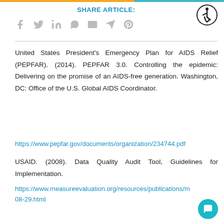SHARE ARTICLE:
[Figure (other): Social media sharing icons: Facebook, Twitter, LinkedIn, WhatsApp, Email, Telegram, Pinterest]
United States President's Emergency Plan for AIDS Relief (PEPFAR). (2014). PEPFAR 3.0. Controlling the epidemic: Delivering on the promise of an AIDS-free generation. Washington, DC: Office of the U.S. Global AIDS Coordinator.
https://www.pepfar.gov/documents/organization/234744.pdf
USAID. (2008). Data Quality Audit Tool, Guidelines for Implementation.
https://www.measureevaluation.org/resources/publications/m 08-29.html